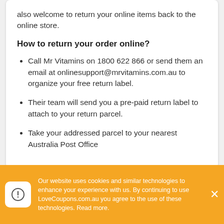also welcome to return your online items back to the online store.
How to return your order online?
Call Mr Vitamins on 1800 622 866 or send them an email at onlinesupport@mrvitamins.com.au to organize your free return label.
Their team will send you a pre-paid return label to attach to your return parcel.
Take your addressed parcel to your nearest Australia Post Office
Our website uses cookies and similar technologies to enhance your experience with us. By continuing to use LoveCoupons.com.au you agree to the use of these technologies. Read more.